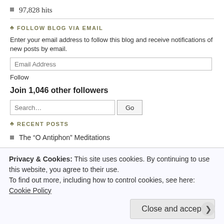97,828 hits
FOLLOW BLOG VIA EMAIL
Enter your email address to follow this blog and receive notifications of new posts by email.
Follow
Join 1,046 other followers
RECENT POSTS
The “O Antiphon” Meditations
Memorial to be held this Sunday
Privacy & Cookies: This site uses cookies. By continuing to use this website, you agree to their use.
To find out more, including how to control cookies, see here: Cookie Policy
Close and accept